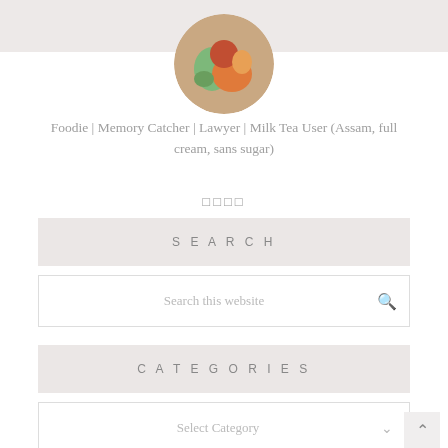☰ (hamburger menu icon)
[Figure (photo): Circular profile photo showing colorful food image, cropped at top of page]
Foodie | Memory Catcher | Lawyer | Milk Tea User (Assam, full cream, sans sugar)
□□□□ (social media icons)
SEARCH
Search this website
CATEGORIES
Select Category